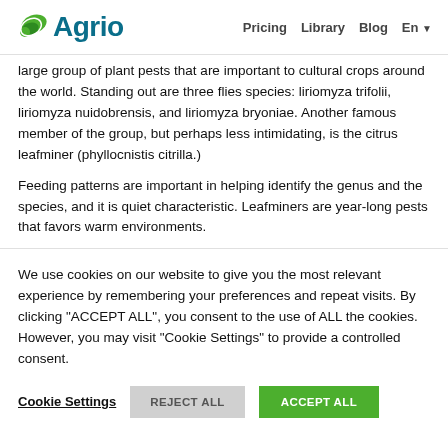Agrio — Pricing  Library  Blog  En
large group of plant pests that are important to cultural crops around the world. Standing out are three flies species: liriomyza trifolii, liriomyza nuidobrensis, and liriomyza bryoniae. Another famous member of the group, but perhaps less intimidating, is the citrus leafminer (phyllocnistis citrilla.)
Feeding patterns are important in helping identify the genus and the species, and it is quiet characteristic. Leafminers are year-long pests that favors warm environments.
We use cookies on our website to give you the most relevant experience by remembering your preferences and repeat visits. By clicking "ACCEPT ALL", you consent to the use of ALL the cookies. However, you may visit "Cookie Settings" to provide a controlled consent.
Cookie Settings  REJECT ALL  ACCEPT ALL